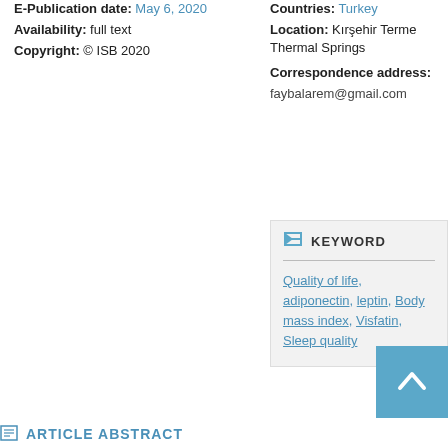E-Publication date: May 6, 2020
Availability: full text
Copyright: © ISB 2020
Countries: Turkey
Location: Kırşehir Terme Thermal Springs
Correspondence address: faybalarem@gmail.com
KEYWORDS
Quality of life, adiponectin, leptin, Body mass index, Visfatin, Sleep quality